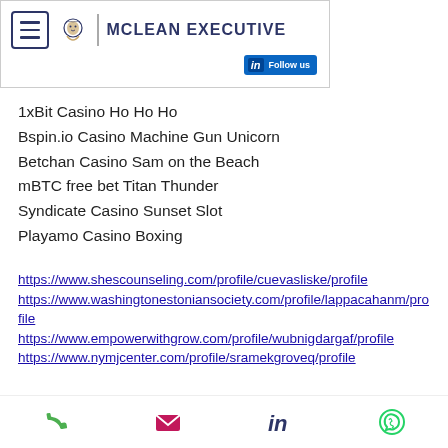MCLEAN EXECUTIVE — Follow us on LinkedIn
1xBit Casino Ho Ho Ho
Bspin.io Casino Machine Gun Unicorn
Betchan Casino Sam on the Beach
mBTC free bet Titan Thunder
Syndicate Casino Sunset Slot
Playamo Casino Boxing
https://www.shescounseling.com/profile/cuevasliske/profile
https://www.washingtonestoniansociety.com/profile/lappacahanm/profile
https://www.empowerwithgrow.com/profile/wubnigdargaf/profile
https://www.nymjcenter.com/profile/sramekgroveq/profile
Phone | Email | LinkedIn | WhatsApp icons